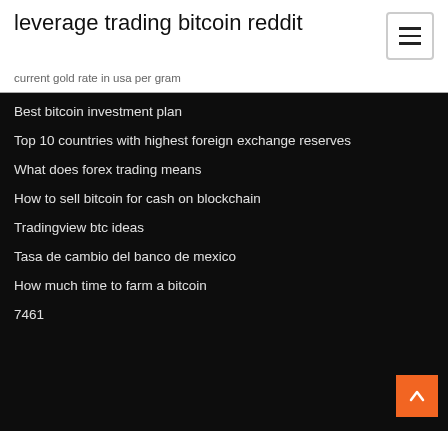leverage trading bitcoin reddit
current gold rate in usa per gram
Best bitcoin investment plan
Top 10 countries with highest foreign exchange reserves
What does forex trading means
How to sell bitcoin for cash on blockchain
Tradingview btc ideas
Tasa de cambio del banco de mexico
How much time to farm a bitcoin
7461